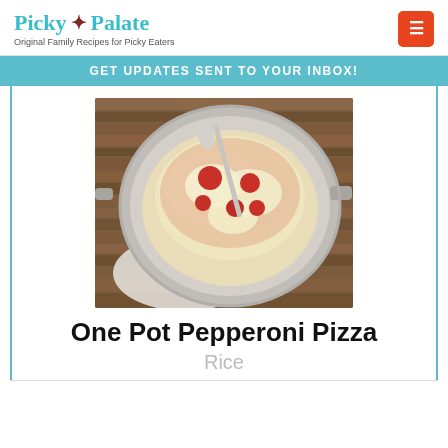Picky Palate — Original Family Recipes for Picky Eaters
GET UPDATES SENT TO YOUR INBOX!
[Figure (photo): A round stainless steel pan filled with pepperoni pizza rice casserole — melted cheese, tomato sauce, pepperoni — with a metal spoon, on a wooden surface with a white linen napkin.]
One Pot Pepperoni Pizza
Rice